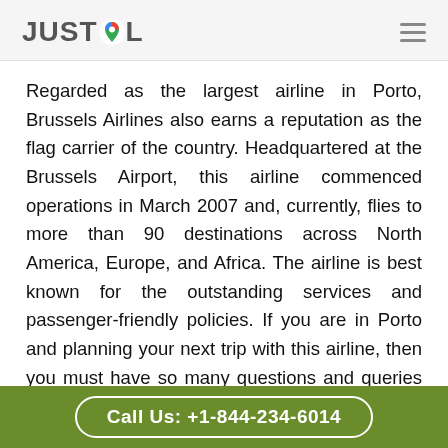JUSTCOL
Regarded as the largest airline in Porto, Brussels Airlines also earns a reputation as the flag carrier of the country. Headquartered at the Brussels Airport, this airline commenced operations in March 2007 and, currently, flies to more than 90 destinations across North America, Europe, and Africa. The airline is best known for the outstanding services and passenger-friendly policies. If you are in Porto and planning your next trip with this airline, then you must have so many questions and queries in mind. And to find the answers to the same, you will surely want
Call Us: +1-844-234-6014